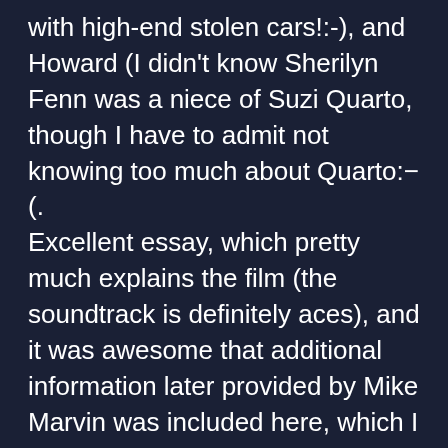with high-end stolen cars!:-), and Howard (I didn't know Sherilyn Fenn was a niece of Suzi Quarto, though I have to admit not knowing too much about Quarto:-(. Excellent essay, which pretty much explains the film (the soundtrack is definitely aces), and it was awesome that additional information later provided by Mike Marvin was included here, which I do think clarifies the film's events. I always felt that "The Wraith" was one of those films in which the viewer has to fill in the blanks, and I saw Jake/Jamie as an avenger who was put in place to complete a task (vengeance on the Packard gang), and once the task was